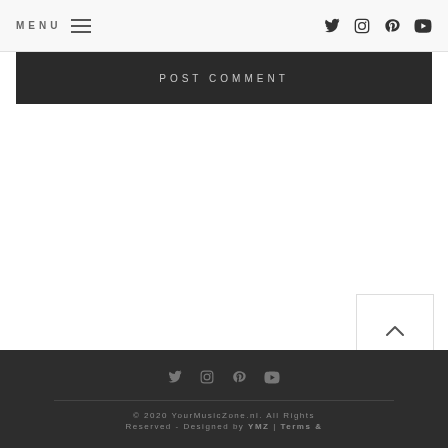MENU [hamburger icon] [twitter icon] [instagram icon] [pinterest icon] [youtube icon]
POST COMMENT
[Figure (other): Scroll-to-top button with upward chevron arrow]
© 2020 YourMusicZone.nl. All Rights Reserved - Designed by YMZ | Terms &